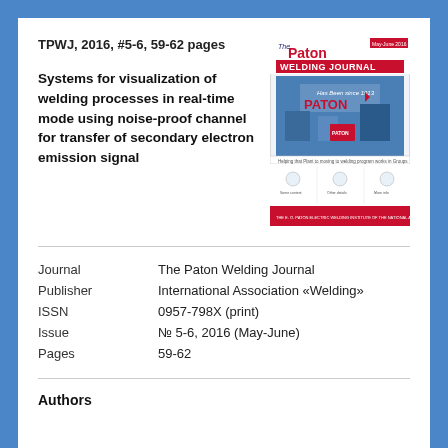TPWJ, 2016, #5-6, 59-62 pages
Systems for visualization of welding processes in real-time mode using noise-proof channel for transfer of secondary electron emission signal
[Figure (illustration): Cover of The Paton Welding Journal, May-June 2016 issue, showing the journal title in red and blue, with a photo of industrial welding equipment]
| Journal | The Paton Welding Journal |
| Publisher | International Association «Welding» |
| ISSN | 0957-798X (print) |
| Issue | № 5-6, 2016 (May-June) |
| Pages | 59-62 |
Authors